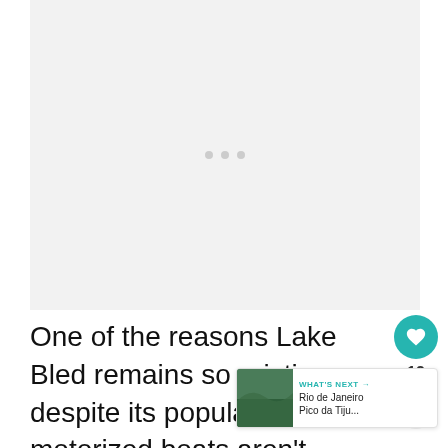[Figure (photo): Light gray image placeholder with three small gray dots centered, representing a loading or unloaded photo]
One of the reasons Lake Bled remains so pristine, despite its popularity, is that motorized boats aren't allowed. You are welcome to kayak, paddle board or swim around the lake.